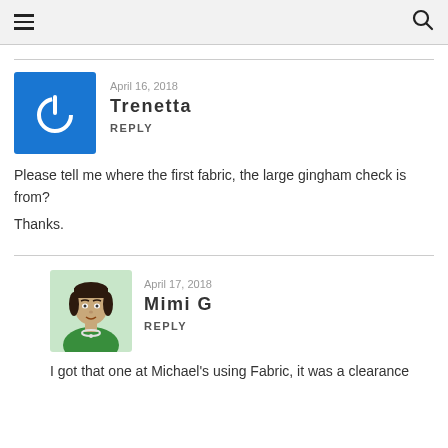☰  🔍
April 16, 2018
Trenetta
Reply

Please tell me where the first fabric, the large gingham check is from?

Thanks.
April 17, 2018
Mimi G
Reply

I got that one at Michael's using Fabric, it was a clearance...